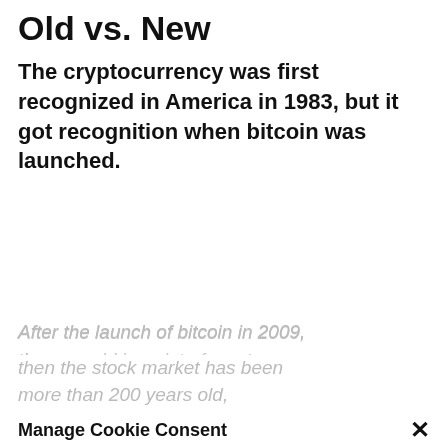Old vs. New
The cryptocurrency was first recognized in America in 1983, but it got recognition when bitcoin was launched.
After the launch of bitcoin in 2009, there was a boom in the crypto market, and people started
Manage Cookie Consent
To provide the best experiences, we use technologies like cookies to store and/or access device information. Consenting to these technologies will allow us to process data such as browsing behavior or unique IDs on this site. Not consenting or withdrawing consent, may adversely affect certain features and functions.
then the stock market has been more than 200 years old,
Accept
due to which people have built trust in it for a long time. It is very different in the stock market and
Deny